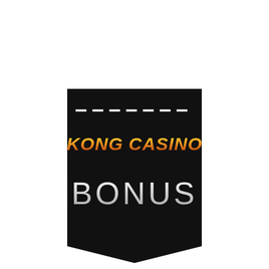[Figure (logo): Kong Casino bonus banner: black pennant/bookmark shape with white dashed line near top, 'KONG CASINO' in gold/orange gradient italic bold text, and 'BONUS' in large white/silver light text below, on white background.]